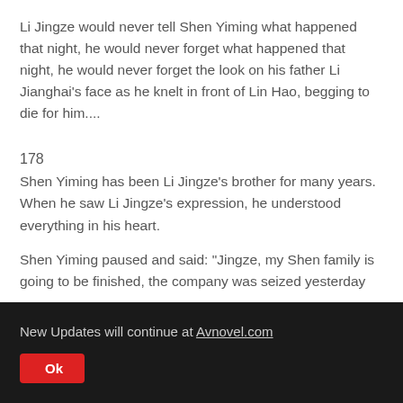Li Jingze would never tell Shen Yiming what happened that night, he would never forget what happened that night, he would never forget the look on his father Li Jianghai's face as he knelt in front of Lin Hao, begging to die for him....
178
Shen Yiming has been Li Jingze's brother for many years. When he saw Li Jingze's expression, he understood everything in his heart.
Shen Yiming paused and said: "Jingze, my Shen family is going to be finished, the company was seized yesterday
New Updates will continue at Avnovel.com
Ok